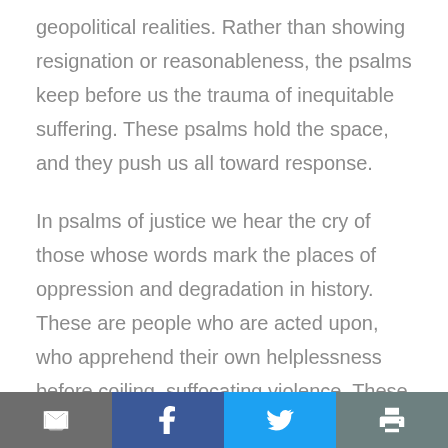geopolitical realities. Rather than showing resignation or reasonableness, the psalms keep before us the trauma of inequitable suffering. These psalms hold the space, and they push us all toward response.
In psalms of justice we hear the cry of those whose words mark the places of oppression and degradation in history. These are people who are acted upon, who apprehend their own helplessness before coiling, suffocating violence. These are people whose very existence hangs in
[toolbar: email, facebook, twitter, print]